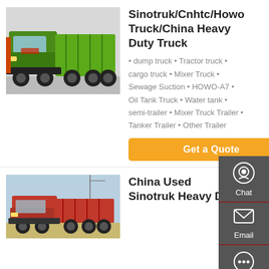[Figure (photo): Green Sinotruk/HOWO dump truck parked indoors, front-side view]
Sinotruk/Cnhtc/Howo Truck/China Heavy Duty Truck
dump truck • Tractor truck • cargo truck • Mixer Truck • Sewage Suction • HOWO-A7 • Oil Tank Truck • Water tank • semi-trailer • Mixer Truck Trailer • Tanker Trailer • Other Trailer
Get a Quote
[Figure (photo): Red Sinotruk heavy duty dump truck, outdoor, side view]
China Used Sinotruk Heavy Duty